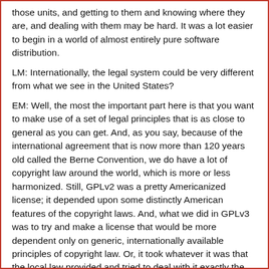those units, and getting to them and knowing where they are, and dealing with them may be hard. It was a lot easier to begin in a world of almost entirely pure software distribution.
LM: Internationally, the legal system could be very different from what we see in the United States?
EM: Well, the most the important part here is that you want to make use of a set of legal principles that is as close to general as you can get. And, as you say, because of the international agreement that is now more than 120 years old called the Berne Convention, we do have a lot of copyright law around the world, which is more or less harmonized. Still, GPLv2 was a pretty Americanized license; it depended upon some distinctly American features of the copyright laws. And, what we did in GPLv3 was to try and make a license that would be more dependent only on generic, internationally available principles of copyright law. Or, it took whatever it was that the local law provided and tried to deal with it exactly the way the local law did.
LM: So, GPLv3 made the license a little more international?
EM: What GPLv3 did actually was to say, in order to figure out whether something is a da-ra-copyright of the license, the...